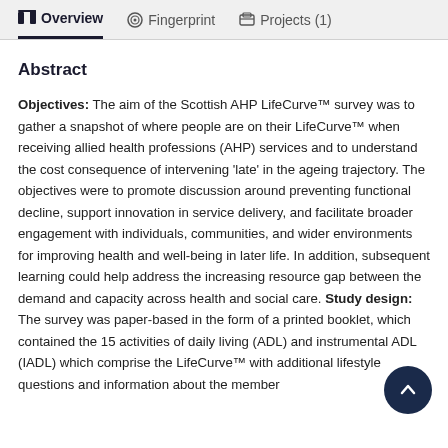Overview   Fingerprint   Projects (1)
Abstract
Objectives: The aim of the Scottish AHP LifeCurve™ survey was to gather a snapshot of where people are on their LifeCurve™ when receiving allied health professions (AHP) services and to understand the cost consequence of intervening 'late' in the ageing trajectory. The objectives were to promote discussion around preventing functional decline, support innovation in service delivery, and facilitate broader engagement with individuals, communities, and wider environments for improving health and well-being in later life. In addition, subsequent learning could help address the increasing resource gap between the demand and capacity across health and social care. Study design: The survey was paper-based in the form of a printed booklet, which contained the 15 activities of daily living (ADL) and instrumental ADL (IADL) which comprise the LifeCurve™ with additional lifestyle questions and information about the member of...